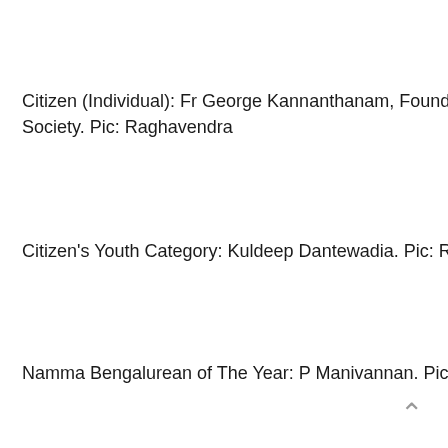Citizen (Individual): Fr George Kannanthanam, Founder, S Society. Pic: Raghavendra
Citizen's Youth Category: Kuldeep Dantewadia. Pic: Ragh
Namma Bengalurean of The Year: P Manivannan. Pic: Ra
Media: Seethalakshmi S – Metro Editor, The Times of Indi Raghavendra